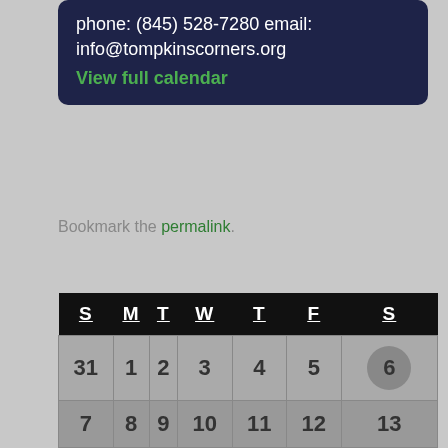phone: (845) 528-7280 email: info@tompkinscorners.org View full calendar
Bookmark the permalink.
« Let's Talk Writing Workshop
Pawling Library Writers Workshop »
| S | M | T | W | T | F | S |
| --- | --- | --- | --- | --- | --- | --- |
| 31 | 1 | 2 | 3 | 4 | 5 | 6 |
| 7 | 8 | 9 | 10 | 11 | 12 | 13 |